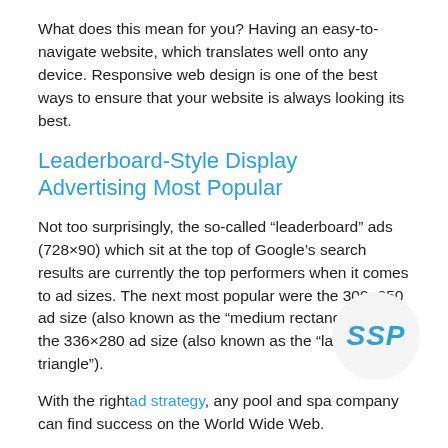What does this mean for you? Having an easy-to-navigate website, which translates well onto any device. Responsive web design is one of the best ways to ensure that your website is always looking its best.
Leaderboard-Style Display Advertising Most Popular
Not too surprisingly, the so-called “leaderboard” ads (728×90) which sit at the top of Google’s search results are currently the top performers when it comes to ad sizes. The next most popular were the 300×250 ad size (also known as the “medium rectangle”) and the 336×280 ad size (also known as the “large triangle”).
With the right ad strategy, any pool and spa company can find success on the World Wide Web.
[Figure (logo): SSP logo in blue italic bold text inside a light grey circle]
Save yourself stress, eliminate unnecessary spending, and streamline quality traffic to your website’s doorstep with